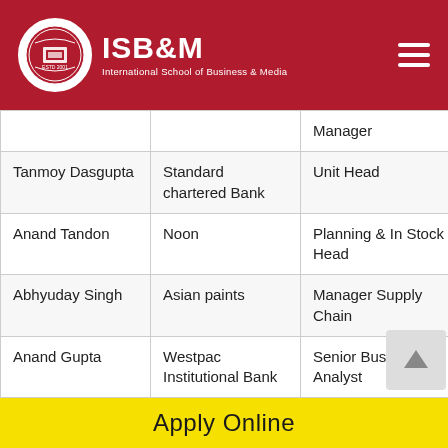ISB&M — International School of Business & Media
| Name | Company | Role | Location |
| --- | --- | --- | --- |
|  |  | Manager |  |
| Tanmoy Dasgupta | Standard chartered Bank | Unit Head | Mumbai |
| Anand Tandon | Noon | Planning & In Stock Head | United Arab Emirates |
| Abhyuday Singh | Asian paints | Manager Supply Chain | Mumbai |
| Anand Gupta | Westpac Institutional Bank | Senior Business Analyst | Singapore |
| Nainesh N Channawar | Meggitt | Business Relationship Manager | UK |
Apply Online